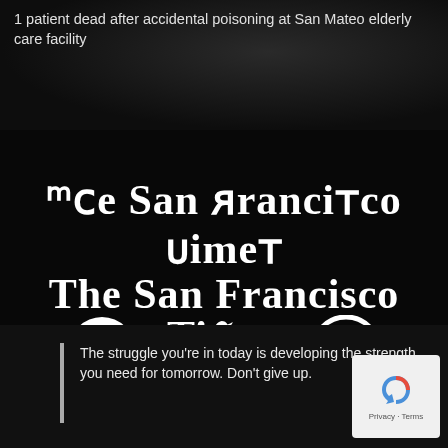1 patient dead after accidental poisoning at San Mateo elderly care facility
The San Francisco Times
Real People. Real Stories. Real Journalism.
[Figure (illustration): Three social media icons in white on black background: Facebook circle icon, Twitter bird icon, Instagram circle icon]
The struggle you're in today is developing the strength you need for tomorrow. Don't give up.